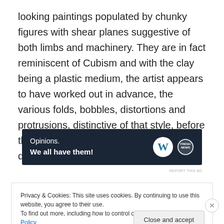looking paintings populated by chunky figures with shear planes suggestive of both limbs and machinery. They are in fact reminiscent of Cubism and with the clay being a plastic medium, the artist appears to have worked out in advance, the various folds, bobbles, distortions and protrusions, distinctive of that style, before then transposing them to the two dimensional world of paint.
[Figure (screenshot): Advertisement banner with dark navy background showing 'Opinions. We all have them!' text with WordPress and FreshNews logos]
REPORT THIS AD
Privacy & Cookies: This site uses cookies. By continuing to use this website, you agree to their use.
To find out more, including how to control cookies, see here: Cookie Policy